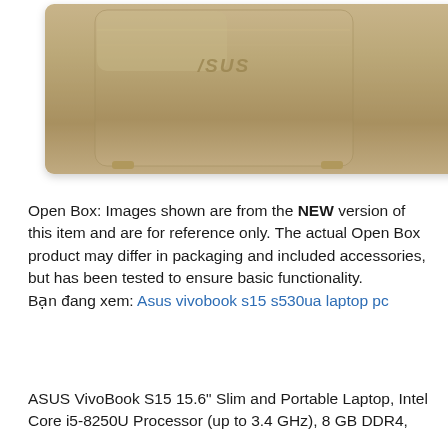[Figure (photo): Back cover of an ASUS laptop (VivoBook S15) in gold/bronze color with the ASUS logo embossed on the lid, showing the top/back view of the closed laptop.]
Open Box: Images shown are from the NEW version of this item and are for reference only. The actual Open Box product may differ in packaging and included accessories, but has been tested to ensure basic functionality.
Bạn đang xem: Asus vivobook s15 s530ua laptop pc
ASUS VivoBook S15 15.6" Slim and Portable Laptop, Intel Core i5-8250U Processor (up to 3.4 GHz), 8 GB DDR4,